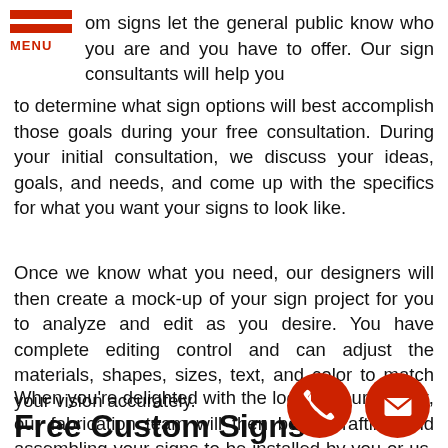[Figure (logo): Red hamburger menu icon with two horizontal red bars and MENU label in red]
om signs let the general public know who you are and you have to offer. Our sign consultants will help you to determine what sign options will best accomplish those goals during your free consultation. During your initial consultation, we discuss your ideas, goals, and needs, and come up with the specifics for what you want your signs to look like.
Once we know what you need, our designers will then create a mock-up of your sign project for you to analyze and edit as you desire. You have complete editing control and can adjust the materials, shapes, sizes, text, and color to match your vision accurately.
When you're delighted with the look of your project, our fabrication team will then begin crafting and assembling your signs to be installed by you or us, depending on the size and complexity of your sign project.
Free Custom Signs
[Figure (illustration): Red circular phone icon]
[Figure (illustration): Red circular email/envelope icon]